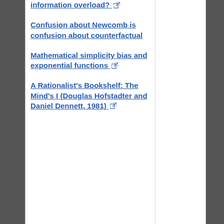information overload?
Confusion about Newcomb is confusion about counterfactual
Mathematical simplicity bias and exponential functions
A Rationalist's Bookshelf: The Mind's I (Douglas Hofstadter and Daniel Dennett, 1981)